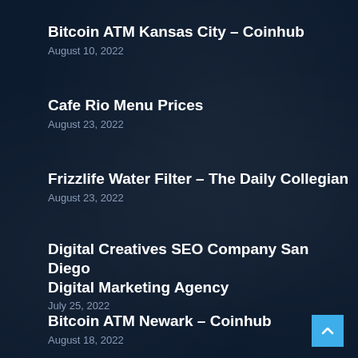Bitcoin ATM Kansas City – Coinhub
August 10, 2022
Cafe Rio Menu Prices
August 23, 2022
Frizzlife Water Filter – The Daily Collegian
August 23, 2022
Digital Creatives SEO Company San Diego Digital Marketing Agency
July 25, 2022
Bitcoin ATM Newark – Coinhub
August 18, 2022